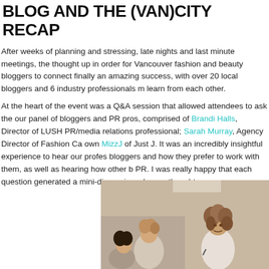BLOG AND THE (VAN)CITY RECAP
After weeks of planning and stressing, late nights and last minute meetings, the thought up in order for Vancouver fashion and beauty bloggers to connect finally an amazing success, with over 20 local bloggers and 6 industry professionals m learn from each other.
At the heart of the event was a Q&A session that allowed attendees to ask the our panel of bloggers and PR pros, comprised of Brandi Halls, Director of LUSH PR/media relations professional; Sarah Murray, Agency Director of Fashion Ca own MizzJ of Just J. It was an incredibly insightful experience to hear our profes bloggers and how they prefer to work with them, as well as hearing how other b PR. I was really happy that each question generated a mini-discussion where e thoughts.
[Figure (photo): A woman with curly hair speaking at an event panel, with other attendees visible in the background. Indoor setting with beige walls.]